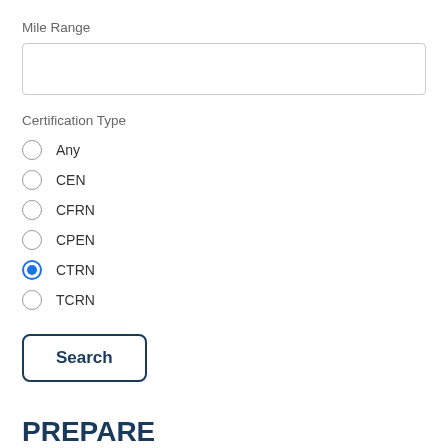Mile Range
Certification Type
Any
CEN
CFRN
CPEN
CTRN (selected)
TCRN
Search
PREPARE
PSI Testing Center Experience – know what to expect and